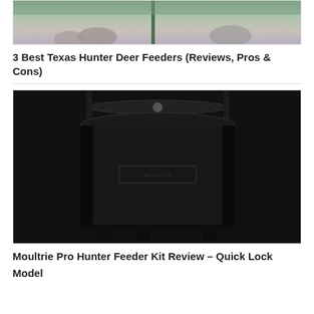[Figure (photo): Top portion of an outdoor photo showing deer near a feeder with green foliage background]
3 Best Texas Hunter Deer Feeders (Reviews, Pros & Cons)
[Figure (photo): Close-up photo of a Moultrie Pro Hunter Feeder Kit showing a black cylindrical barrel with spinning mechanism on top]
Moultrie Pro Hunter Feeder Kit Review – Quick Lock Model